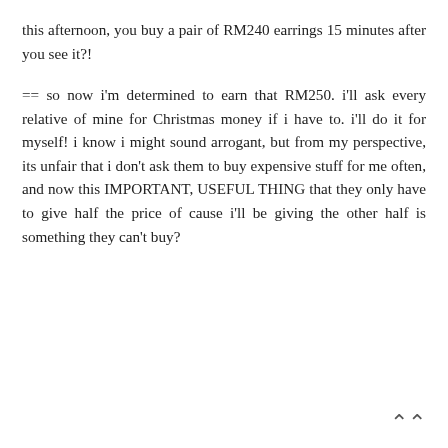this afternoon, you buy a pair of RM240 earrings 15 minutes after you see it?!
== so now i'm determined to earn that RM250. i'll ask every relative of mine for Christmas money if i have to. i'll do it for myself! i know i might sound arrogant, but from my perspective, its unfair that i don't ask them to buy expensive stuff for me often, and now this IMPORTANT, USEFUL THING that they only have to give half the price of cause i'll be giving the other half is something they can't buy?